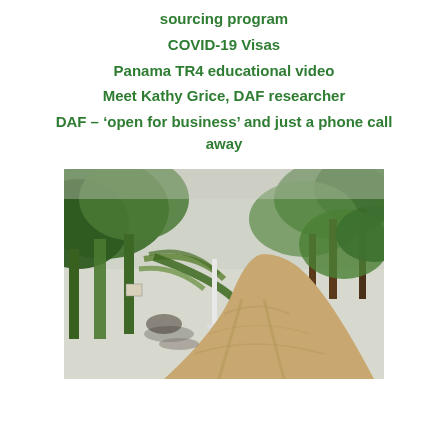sourcing program
COVID-19 Visas
Panama TR4 educational video
Meet Kathy Grice, DAF researcher
DAF – ‘open for business’ and just a phone call away
[Figure (photo): A dirt road running through a banana plantation, with banana plants on both sides. The trees show signs of disease or wind damage with some fallen fronds. A white post/stake is visible beside the road. The scene is overcast.]